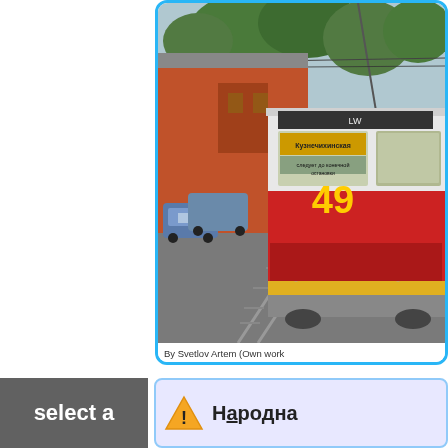[Figure (photo): A red tram numbered 49 on a street, with parked cars and a large orange/red brick building in the background. Trees visible above. Tram tracks curve in the foreground.]
By Svetlov Artem (Own work
select a
[Figure (other): Warning/triangle icon and partial heading text on a light purple/lavender background panel]